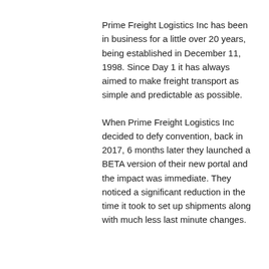Prime Freight Logistics Inc has been in business for a little over 20 years, being established in December 11, 1998. Since Day 1 it has always aimed to make freight transport as simple and predictable as possible.
When Prime Freight Logistics Inc decided to defy convention, back in 2017, 6 months later they launched a BETA version of their new portal and the impact was immediate. They noticed a significant reduction in the time it took to set up shipments along with much less last minute changes.